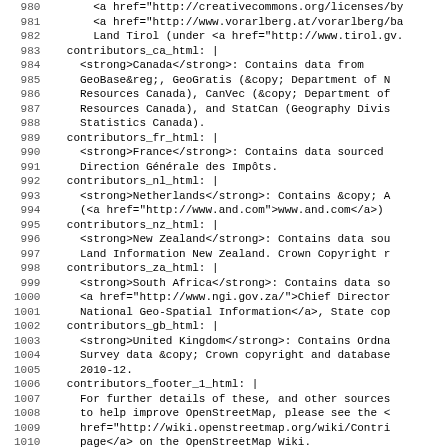Code listing lines 980-1011 showing YAML/HTML contributor attribution data for various countries including Canada, France, Netherlands, New Zealand, South Africa, United Kingdom, and footer entries.